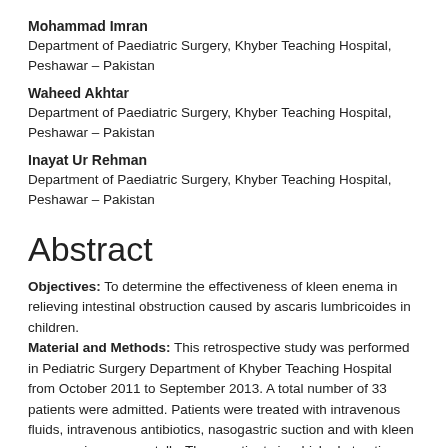Mohammad Imran
Department of Paediatric Surgery, Khyber Teaching Hospital, Peshawar – Pakistan
Waheed Akhtar
Department of Paediatric Surgery, Khyber Teaching Hospital, Peshawar – Pakistan
Inayat Ur Rehman
Department of Paediatric Surgery, Khyber Teaching Hospital, Peshawar – Pakistan
Abstract
Objectives: To determine the effectiveness of kleen enema in relieving intestinal obstruction caused by ascaris lumbricoides in children.
Material and Methods: This retrospective study was performed in Pediatric Surgery Department of Khyber Teaching Hospital from October 2011 to September 2013. A total number of 33 patients were admitted. Patients were treated with intravenous fluids, intravenous antibiotics, nasogastric suction and with kleen enema, given per rectally. Those patients in which obstruction was not relieved within 72 hours, were then